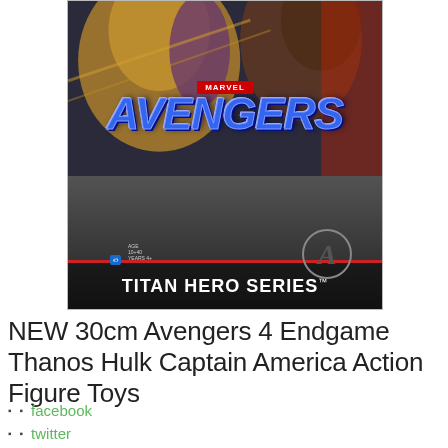[Figure (photo): Marvel Avengers Titan Hero Series action figure toy packaging box, showing characters including Thanos and Captain America, with 'MARVEL AVENGERS' logo and 'TITAN HERO SERIES' text at bottom]
NEW 30cm Avengers 4 Endgame Thanos Hulk Captain America Action Figure Toys
facebook
twitter
linkedin